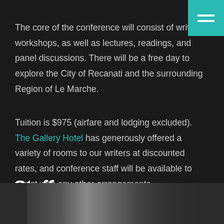[Figure (other): Teal hamburger menu button in top-right corner]
The core of the conference will consist of writing workshops, as well as lectures, readings, and panel discussions. There will be a free day to explore the City of Recanati and the surrounding Region of Le Marche.
Tuition is $975 (airfare and lodging excluded). The Gallery Hotel has generously offered a variety of rooms to our writers at discounted rates, and conference staff will be available to assist with any other arrangements.
Staff
[Figure (photo): Black and white photo strip showing a cityscape]